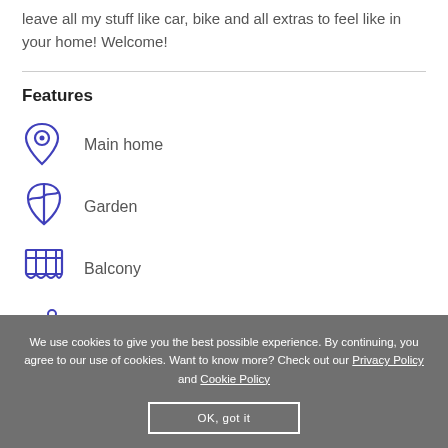leave all my stuff like car, bike and all extras to feel like in your home! Welcome!
Features
Main home
Garden
Balcony
Pool
We use cookies to give you the best possible experience. By continuing, you agree to our use of cookies. Want to know more? Check out our Privacy Policy and Cookie Policy
OK, got it